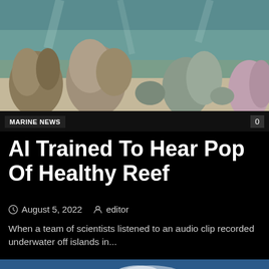[Figure (photo): Underwater coral reef photo showing various coral formations and marine life]
MARINE NEWS
AI Trained To Hear Pop Of Healthy Reef
August 5, 2022   editor
When a team of scientists listened to an audio clip recorded underwater off islands in...
[Figure (photo): Ocean surface photo showing a dolphin or whale fin with waves and a logo overlay]